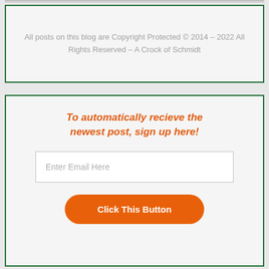All posts on this blog are Copyright Protected © 2014 – 2022 All Rights Reserved – A Crock of Schmidt
To automatically recieve the newest post, sign up here!
Enter Email Here
Click This Button